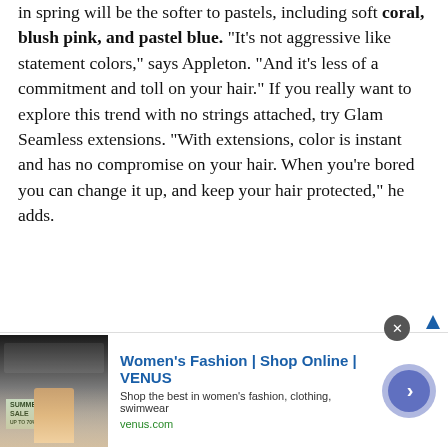in spring will be the softer to pastels, including soft coral, blush pink, and pastel blue. "It's not aggressive like statement colors," says Appleton. "And it's less of a commitment and toll on your hair." If you really want to explore this trend with no strings attached, try Glam Seamless extensions. "With extensions, color is instant and has no compromise on your hair. When you're bored you can change it up, and keep your hair protected," he adds.
[Figure (screenshot): Advertisement banner for Women's Fashion | Shop Online | VENUS. Shows a product image on the left with a summer sale overlay, ad title 'Women's Fashion | Shop Online | VENUS' in blue, description 'Shop the best in women's fashion, clothing, swimwear', URL 'venus.com' in green, and a purple circular arrow button on the right. Close button (X) in top-right corner.]